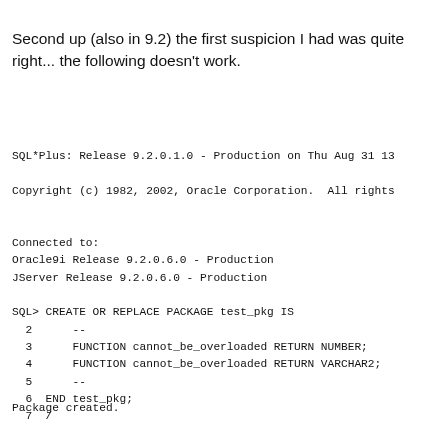Second up (also in 9.2) the first suspicion I had was quite right... the following doesn't work.
SQL*Plus: Release 9.2.0.1.0 - Production on Thu Aug 31 13
Copyright (c) 1982, 2002, Oracle Corporation.  All rights

Connected to:
Oracle9i Release 9.2.0.6.0 - Production
JServer Release 9.2.0.6.0 - Production

SQL> CREATE OR REPLACE PACKAGE test_pkg IS
  2      --
  3      FUNCTION cannot_be_overloaded RETURN NUMBER;
  4      FUNCTION cannot_be_overloaded RETURN VARCHAR2;
  5      --
  6  END test_pkg;
  7  /
Package created.